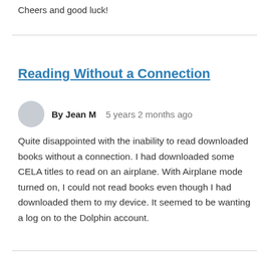Cheers and good luck!
Reading Without a Connection
By Jean M   5 years 2 months ago
Quite disappointed with the inability to read downloaded books without a connection. I had downloaded some CELA titles to read on an airplane. With Airplane mode turned on, I could not read books even though I had downloaded them to my device. It seemed to be wanting a log on to the Dolphin account.